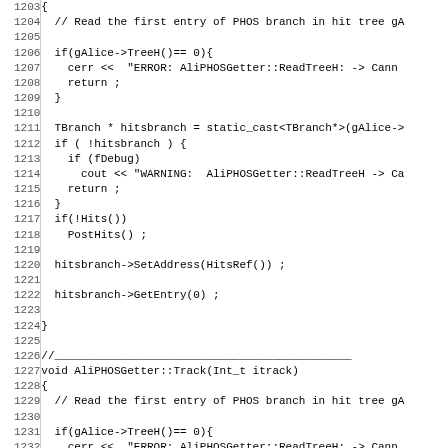Source code listing: AliPHOSGetter methods, lines 1203-1235
1204  // Read the first entry of PHOS branch in hit tree gA
1205
1206  if(gAlice->TreeH()== 0){
1207    cerr <<  "ERROR: AliPHOSGetter::ReadTreeH: -> Cann
1208    return ;
1209  }
1210
1211  TBranch * hitsbranch = static_cast<TBranch*>(gAlice->
1212  if ( !hitsbranch ) {
1213    if (fDebug)
1214      cout << "WARNING:  AliPHOSGetter::ReadTreeH -> Ca
1215    return ;
1216  }
1217  if(!Hits())
1218    PostHits() ;
1219
1220  hitsbranch->SetAddress(HitsRef()) ;
1221
1222  hitsbranch->GetEntry(0) ;
1223
1224 }
1225
1226 //___
1227 void AliPHOSGetter::Track(Int_t itrack)
1228 {
1229   // Read the first entry of PHOS branch in hit tree gA
1230
1231   if(gAlice->TreeH()== 0){
1232     cerr <<  "ERROR: AliPHOSGetter::ReadTreeH: -> Cann
1233     return ;
1234   }
1235